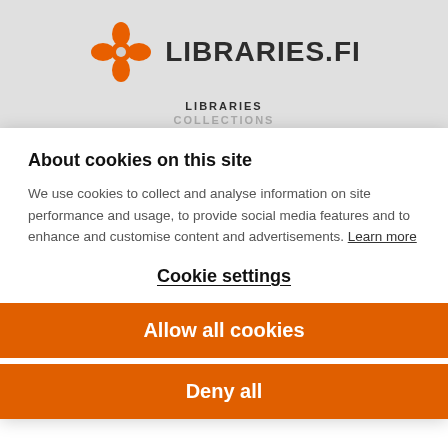[Figure (logo): Libraries.fi logo with orange flower/snowflake icon and LIBRARIES.fi text]
LIBRARIES COLLECTIONS
About cookies on this site
We use cookies to collect and analyse information on site performance and usage, to provide social media features and to enhance and customise content and advertisements. Learn more
Cookie settings
Allow all cookies
Deny all